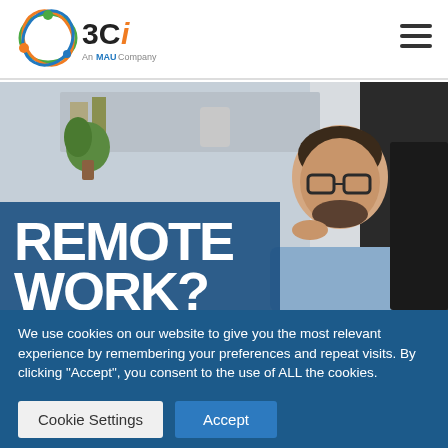3Ci — An MAU Company
[Figure (photo): Man with glasses sitting at a desk in a home office, looking at a monitor. Large bold white text reading REMOTE WORK? overlaid on a dark blue background on the left side of the image.]
We use cookies on our website to give you the most relevant experience by remembering your preferences and repeat visits. By clicking "Accept", you consent to the use of ALL the cookies.
Do not sell my personal information.
Cookie Settings   Accept